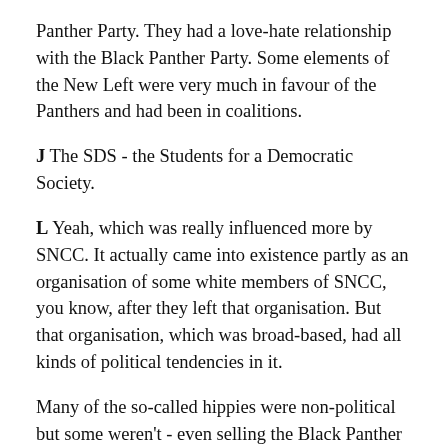Panther Party. They had a love-hate relationship with the Black Panther Party. Some elements of the New Left were very much in favour of the Panthers and had been in coalitions.
J The SDS - the Students for a Democratic Society.
L Yeah, which was really influenced more by SNCC. It actually came into existence partly as an organisation of some white members of SNCC, you know, after they left that organisation. But that organisation, which was broad-based, had all kinds of political tendencies in it.
Many of the so-called hippies were non-political but some weren't - even selling the Black Panther newspaper. I was coming from the South with Rix to deal with the two Black Panther coalitions and there's this white guy selling the newspaper. A Californian